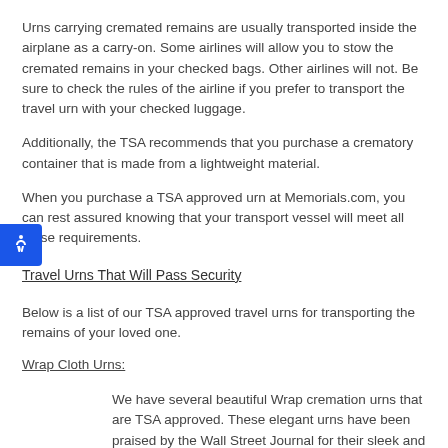Urns carrying cremated remains are usually transported inside the airplane as a carry-on. Some airlines will allow you to stow the cremated remains in your checked bags. Other airlines will not. Be sure to check the rules of the airline if you prefer to transport the travel urn with your checked luggage.
Additionally, the TSA recommends that you purchase a crematory container that is made from a lightweight material.
When you purchase a TSA approved urn at Memorials.com, you can rest assured knowing that your transport vessel will meet all these requirements.
Travel Urns That Will Pass Security
Below is a list of our TSA approved travel urns for transporting the remains of your loved one.
Wrap Cloth Urns:
We have several beautiful Wrap cremation urns that are TSA approved. These elegant urns have been praised by the Wall Street Journal for their sleek and tailored lines. They consist of a durable inner container wrapped with a fitted poly-blend slipcover. This Wrap urn comes in a variety of silky colors including dark blue, cream, maroon, dark green, sage green and steel blue. Another Wrap version similarly constructed has an outer padded layer of material with an obi-style ribbon to finish off the presentation.
Military Urns: